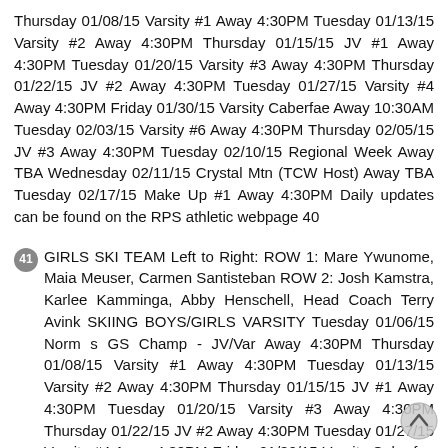Thursday 01/08/15 Varsity #1 Away 4:30PM Tuesday 01/13/15 Varsity #2 Away 4:30PM Thursday 01/15/15 JV #1 Away 4:30PM Tuesday 01/20/15 Varsity #3 Away 4:30PM Thursday 01/22/15 JV #2 Away 4:30PM Tuesday 01/27/15 Varsity #4 Away 4:30PM Friday 01/30/15 Varsity Caberfae Away 10:30AM Tuesday 02/03/15 Varsity #6 Away 4:30PM Thursday 02/05/15 JV #3 Away 4:30PM Tuesday 02/10/15 Regional Week Away TBA Wednesday 02/11/15 Crystal Mtn (TCW Host) Away TBA Tuesday 02/17/15 Make Up #1 Away 4:30PM Daily updates can be found on the RPS athletic webpage 40
41 GIRLS SKI TEAM Left to Right: ROW 1: Mare Ywunome, Maia Meuser, Carmen Santisteban ROW 2: Josh Kamstra, Karlee Kamminga, Abby Henschell, Head Coach Terry Avink SKIING BOYS/GIRLS VARSITY Tuesday 01/06/15 Norm s GS Champ - JV/Var Away 4:30PM Thursday 01/08/15 Varsity #1 Away 4:30PM Tuesday 01/13/15 Varsity #2 Away 4:30PM Thursday 01/15/15 JV #1 Away 4:30PM Tuesday 01/20/15 Varsity #3 Away 4:30PM Thursday 01/22/15 JV #2 Away 4:30PM Tuesday 01/27/15 Varsity #4 Away 4:30PM Friday 01/30/15 Varsity Caberfae Away 10:30AM Tuesday 02/03/15 Varsity #6 Away 4:30PM